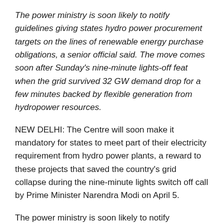The power ministry is soon likely to notify guidelines giving states hydro power procurement targets on the lines of renewable energy purchase obligations, a senior official said. The move comes soon after Sunday's nine-minute lights-off feat when the grid survived 32 GW demand drop for a few minutes backed by flexible generation from hydropower resources.
NEW DELHI: The Centre will soon make it mandatory for states to meet part of their electricity requirement from hydro power plants, a reward to these projects that saved the country's grid collapse during the nine-minute lights switch off call by Prime Minister Narendra Modi on April 5.
The power ministry is soon likely to notify guidelines giving states hydro power procurement targets on the lines of renewable energy purchase obligations, a senior official said.